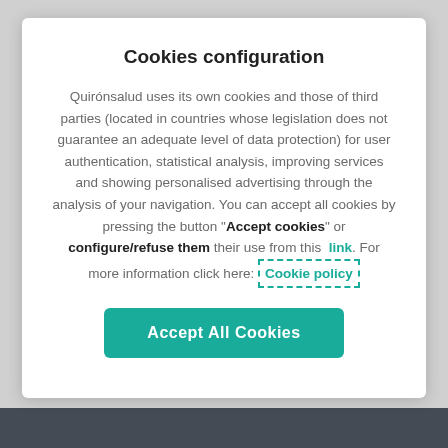Cookies configuration
Quirónsalud uses its own cookies and those of third parties (located in countries whose legislation does not guarantee an adequate level of data protection) for user authentication, statistical analysis, improving services and showing personalised advertising through the analysis of your navigation. You can accept all cookies by pressing the button "Accept cookies" or configure/refuse them their use from this link. For more information click here: Cookie policy
[Figure (other): Teal rounded rectangle button labeled 'Accept All Cookies']